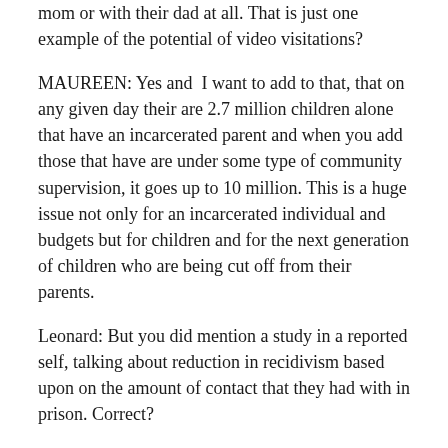mom or with their dad at all. That is just one example of the potential of video visitations?
MAUREEN: Yes and I want to add to that, that on any given day their are 2.7 million children alone that have an incarcerated parent and when you add those that have are under some type of community supervision, it goes up to 10 million. This is a huge issue not only for an incarcerated individual and budgets but for children and for the next generation of children who are being cut off from their parents.
Leonard: But you did mention a study in a reported self, talking about reduction in recidivism based upon on the amount of contact that they had with in prison. Correct?
MAUREEN: Oh yes, absolutely. There was a recent study done by the Minnesota department of correction. It looked at 16,000 incarcerated individuals and looked at how visiting impacted